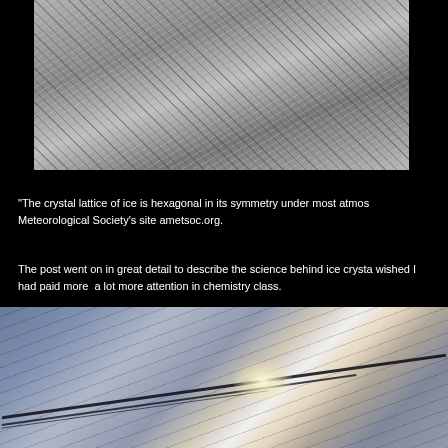[Figure (photo): Close-up macro photograph of ice crystal formations showing a textured, grey-silver crystalline surface with intricate lattice patterns]
[Figure (photo): Partial view of outdoor industrial or structural scene with blue sky, orange/rust colored pipes or beams, and dark metal framework]
"The crystal lattice of ice is hexagonal in its symmetry under most atmos Meteorological Society’s site ametsoc.org.
The post went on in great detail to describe the science behind ice crysta wished I had paid more  a lot more attention in chemistry class.
[Figure (photo): Close-up photograph of an icy or frosted surface, showing a bluish-grey scratched surface with diagonal lines/cracks and a bright light reflection or sparkle near the center-right]